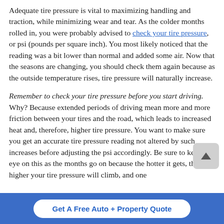Adequate tire pressure is vital to maximizing handling and traction, while minimizing wear and tear. As the colder months rolled in, you were probably advised to check your tire pressure, or psi (pounds per square inch). You most likely noticed that the reading was a bit lower than normal and added some air. Now that the seasons are changing, you should check them again because as the outside temperature rises, tire pressure will naturally increase.
Remember to check your tire pressure before you start driving. Why? Because extended periods of driving mean more and more friction between your tires and the road, which leads to increased heat and, therefore, higher tire pressure. You want to make sure you get an accurate tire pressure reading not altered by such increases before adjusting the psi accordingly. Be sure to keep an eye on this as the months go on because the hotter it gets, the higher your tire pressure will climb, and one
Get A Free Auto + Property Quote